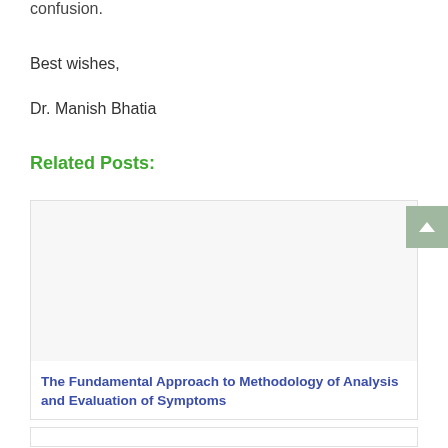confusion.
Best wishes,
Dr. Manish Bhatia
Related Posts:
[Figure (photo): Related post card with image placeholder area, showing a white/light grey box]
The Fundamental Approach to Methodology of Analysis and Evaluation of Symptoms